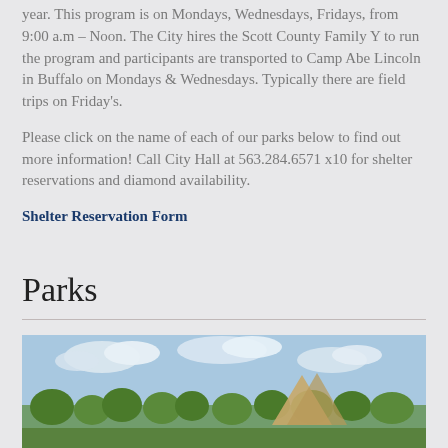year. This program is on Mondays, Wednesdays, Fridays, from 9:00 a.m – Noon. The City hires the Scott County Family Y to run the program and participants are transported to Camp Abe Lincoln in Buffalo on Mondays & Wednesdays. Typically there are field trips on Friday's.
Please click on the name of each of our parks below to find out more information! Call City Hall at 563.284.6571 x10 for shelter reservations and diamond availability.
Shelter Reservation Form
Parks
[Figure (photo): Outdoor park photo showing green trees under a partly cloudy blue sky, with a triangular structure or sculpture visible in the background.]